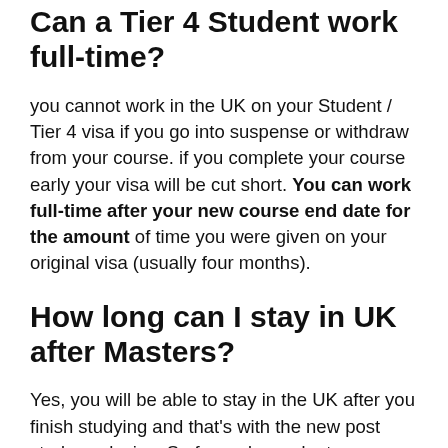Can a Tier 4 Student work full-time?
you cannot work in the UK on your Student / Tier 4 visa if you go into suspense or withdraw from your course. if you complete your course early your visa will be cut short. You can work full-time after your new course end date for the amount of time you were given on your original visa (usually four months).
How long can I stay in UK after Masters?
Yes, you will be able to stay in the UK after you finish studying and that's with the new post study work visa. So for undergraduate